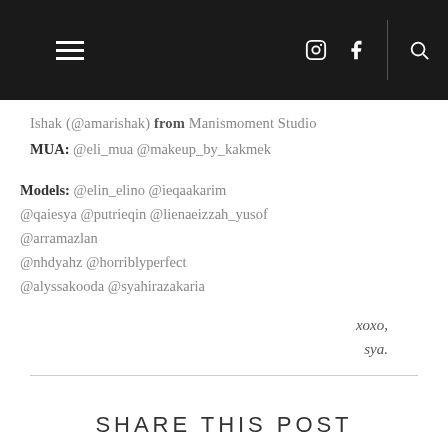Navigation bar with hamburger menu, Instagram icon, Facebook icon, and search icon
Ishak (@amarishak) from Manismoment Studio
MUA: @eli_mua @makeup_by_kakmek

Models: @elin_elino @ieqaakarim @qaiesya @putrieqin @lienaeizzah_yusof @arramazlan
@nhdyahz @horriblyperfect @alyssakooda @syahirazakaria

xoxo,
sya.
SHARE THIS POST